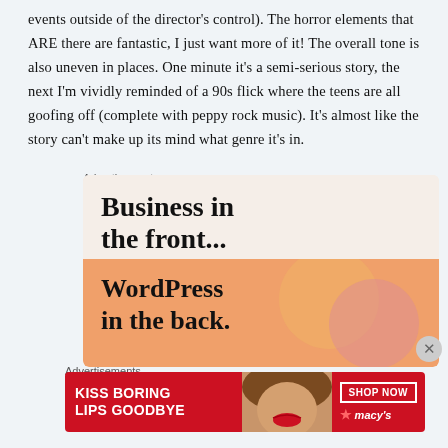events outside of the director's control). The horror elements that ARE there are fantastic, I just want more of it! The overall tone is also uneven in places. One minute it's a semi-serious story, the next I'm vividly reminded of a 90s flick where the teens are all goofing off (complete with peppy rock music). It's almost like the story can't make up its mind what genre it's in.
Advertisements
[Figure (infographic): WordPress advertisement: 'Business in the front... WordPress in the back.' with orange gradient background and decorative circles]
Advertisements
[Figure (infographic): Macy's lipstick advertisement: 'KISS BORING LIPS GOODBYE' with woman's face and SHOP NOW button]